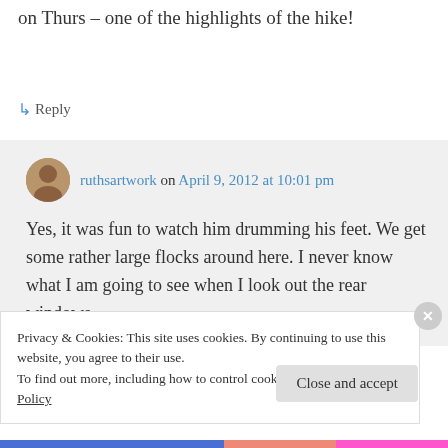on Thurs – one of the highlights of the hike!
↳ Reply
ruthsartwork on April 9, 2012 at 10:01 pm
Yes, it was fun to watch him drumming his feet. We get some rather large flocks around here. I never know what I am going to see when I look out the rear windows.
Privacy & Cookies: This site uses cookies. By continuing to use this website, you agree to their use.
To find out more, including how to control cookies, see here: Cookie Policy
Close and accept